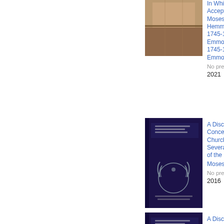[Figure (photo): Partial book cover with brown/tan tones, top portion visible]
In Which the Several Acceptations of the Moses 1735-1811 Hemmenway,Natha... 1745-1840 Dissertat Emmons,Nathanael 1745-1840 Candid Emmons
No preview available
2021
[Figure (photo): Dark navy/purple book cover with laurel wreath emblem — A Discourse Concerning the Church]
A Discourse Concerning the Church: In Which the Several Acceptations of the ...
Moses Hemmenway...
No preview available
2016
[Figure (photo): Dark navy/purple book cover with laurel wreath emblem — A Discourse Concerning the Church]
A Discourse Concerning the Church: In Which the Several Acceptation...